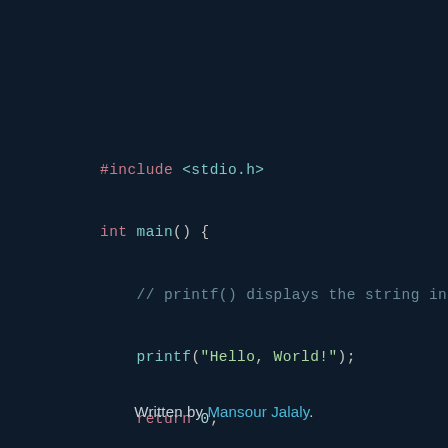#include <stdio.h>

int main() {

    // printf() displays the string inside quo

    printf("Hello, World!");

    return 0;

}
Written by Mansour Jalaly.